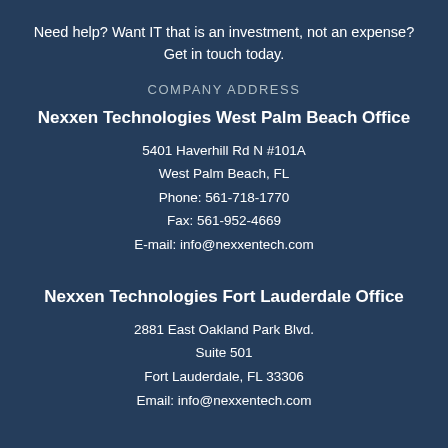Need help? Want IT that is an investment, not an expense? Get in touch today.
COMPANY ADDRESS
Nexxen Technologies West Palm Beach Office
5401 Haverhill Rd N #101A
West Palm Beach, FL
Phone: 561-718-1770
Fax: 561-952-4669
E-mail: info@nexxentech.com
Nexxen Technologies Fort Lauderdale Office
2881 East Oakland Park Blvd.
Suite 501
Fort Lauderdale, FL 33306
Email: info@nexxentech.com